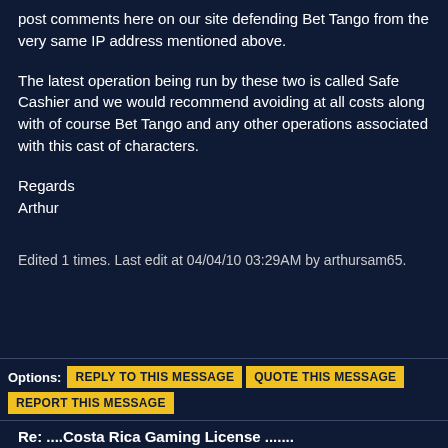post comments here on our site defending Bet Tango from the very same IP address mentioned above.
The latest operation being run by these two is called Safe Cashier and we would recommend avoiding at all costs along with of course Bet Tango and any other operations associated with this cast of characters.
Regards
Arthur
Edited 1 times. Last edit at 04/04/10 03:29AM by arthursam65.
Options: REPLY TO THIS MESSAGE  QUOTE THIS MESSAGE  REPORT THIS MESSAGE
Re: ....Costa Rica Gaming License .......